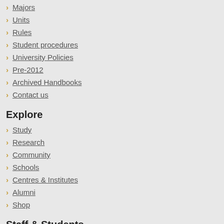Majors
Units
Rules
Student procedures
University Policies
Pre-2012
Archived Handbooks
Contact us
Explore
Study
Research
Community
Schools
Centres & Institutes
Alumni
Shop
Staff & Students